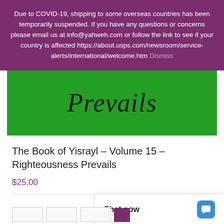Due to COVID-19, shipping to some overseas countries has been temporarily suspended. If you have any questions or concerns please email us at info@yahweh.com or follow the link to see if your country is affected https://about.usps.com/newsroom/service-alerts/international/welcome.htm Dismiss
[Figure (illustration): Green banner with cursive text 'Prevails' in dark color on a bright green background]
The Book of Yisrayl – Volume 15 – Righteousness Prevails
$25.00
Chat now